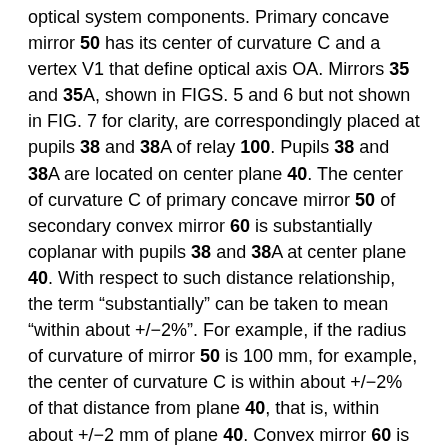optical system components. Primary concave mirror 50 has its center of curvature C and a vertex V1 that define optical axis OA. Mirrors 35 and 35A, shown in FIGS. 5 and 6 but not shown in FIG. 7 for clarity, are correspondingly placed at pupils 38 and 38A of relay 100. Pupils 38 and 38A are located on center plane 40. The center of curvature C of primary concave mirror 50 of secondary convex mirror 60 is substantially coplanar with pupils 38 and 38A at center plane 40. With respect to such distance relationship, the term “substantially” can be taken to mean “within about +/−2%”. For example, if the radius of curvature of mirror 50 is 100 mm, for example, the center of curvature C is within about +/−2% of that distance from plane 40, that is, within about +/−2 mm of plane 40. Convex mirror 60 is located substantially half way (again, within about +/−2% of the actual half distance) between plane 40 and concave mirror 50, as shown in FIG. 7, with its center of curvature substantially coincident with center of curvature C of concave mirror 50, located substantially at plane 40. Thus the radius